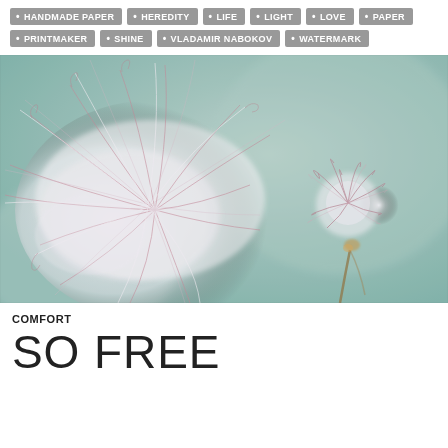HANDMADE PAPER
HEREDITY
LIFE
LIGHT
LOVE
PAPER
PRINTMAKER
SHINE
VLADAMIR NABOKOV
WATERMARK
[Figure (photo): Macro photograph of delicate white fluffy plant fibers/seed heads with fine pink-purple thread-like strands, against a soft blurred teal-grey background. The composition shows one large open feathery bloom on the left and a smaller compact bud on the right.]
COMFORT
SO FREE